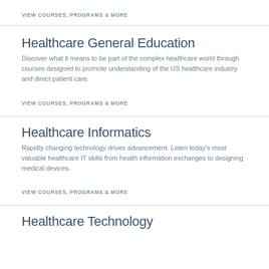VIEW COURSES, PROGRAMS & MORE
Healthcare General Education
Discover what it means to be part of the complex healthcare world through courses designed to promote understanding of the US healthcare industry and direct patient care.
VIEW COURSES, PROGRAMS & MORE
Healthcare Informatics
Rapidly changing technology drives advancement. Learn today's most valuable healthcare IT skills from health information exchanges to designing medical devices.
VIEW COURSES, PROGRAMS & MORE
Healthcare Technology